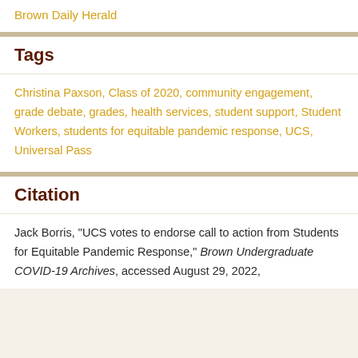Brown Daily Herald
Tags
Christina Paxson, Class of 2020, community engagement, grade debate, grades, health services, student support, Student Workers, students for equitable pandemic response, UCS, Universal Pass
Citation
Jack Borris, "UCS votes to endorse call to action from Students for Equitable Pandemic Response," Brown Undergraduate COVID-19 Archives, accessed August 29, 2022,